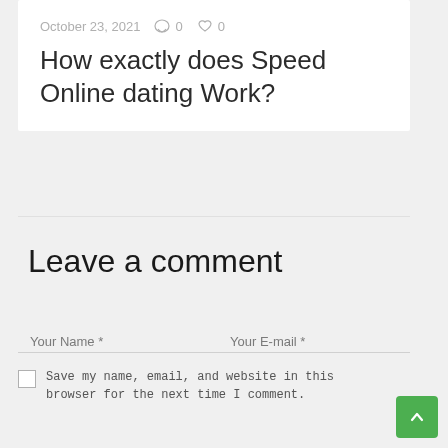October 23, 2021   0   0
How exactly does Speed Online dating Work?
Leave a comment
Your Name *
Your E-mail *
Save my name, email, and website in this browser for the next time I comment.